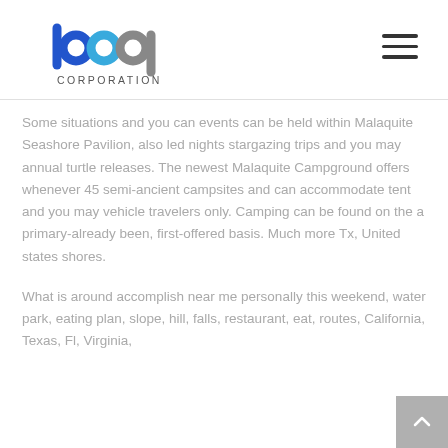bop Corporation
Some situations and you can events can be held within Malaquite Seashore Pavilion, also led nights stargazing trips and you may annual turtle releases. The newest Malaquite Campground offers whenever 45 semi-ancient campsites and can accommodate tent and you may vehicle travelers only. Camping can be found on the a primary-already been, first-offered basis. Much more Tx, United states shores.
What is around accomplish near me personally this weekend, water park, eating plan, slope, hill, falls, restaurant, eat, routes, California, Texas, Fl, Virginia,